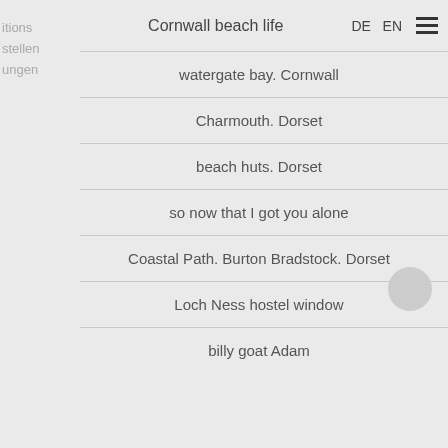Cornwall beach life
watergate bay. Cornwall
Charmouth. Dorset
beach huts. Dorset
so now that I got you alone
Coastal Path. Burton Bradstock. Dorset
Loch Ness hostel window
billy goat Adam